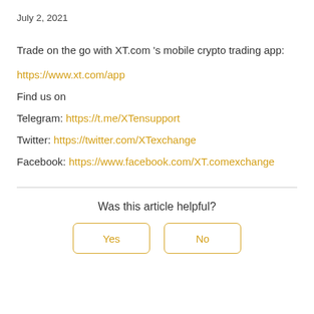July 2, 2021
Trade on the go with XT.com 's mobile crypto trading app:
https://www.xt.com/app
Find us on
Telegram: https://t.me/XTensupport
Twitter: https://twitter.com/XTexchange
Facebook: https://www.facebook.com/XT.comexchange
Was this article helpful?
Yes
No